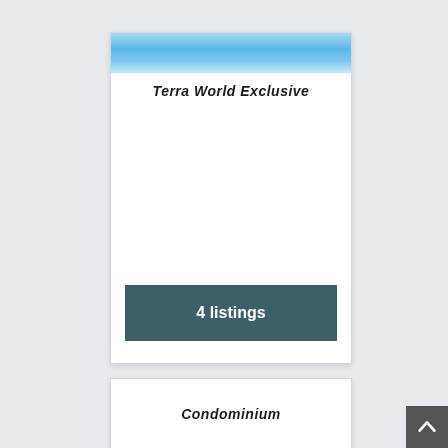[Figure (photo): Blue sky photo banner at top of card]
Terra World Exclusive
4 listings
Condominium